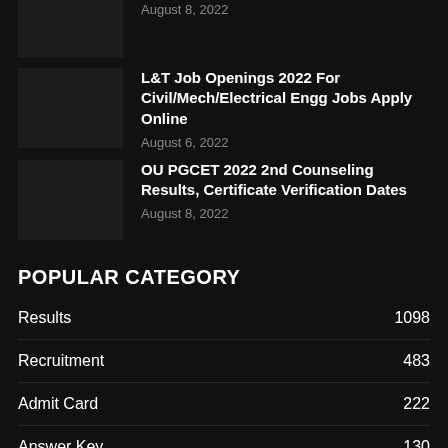[Figure (photo): Thumbnail image placeholder for article about D.El.Ed/B.Ed/M.Ed/M.Phil & OT]
August 8, 2022
[Figure (photo): Thumbnail image placeholder for L&T Job Openings article]
L&T Job Openings 2022 For Civil/Mech/Electrical Engg Jobs Apply Online
August 6, 2022
[Figure (photo): Thumbnail image placeholder for OU PGCET article]
OU PGCET 2022 2nd Counseling Results, Certificate Verification Dates
August 8, 2022
POPULAR CATEGORY
Results 1098
Recruitment 483
Admit Card 222
Answer Key 130
Images 100